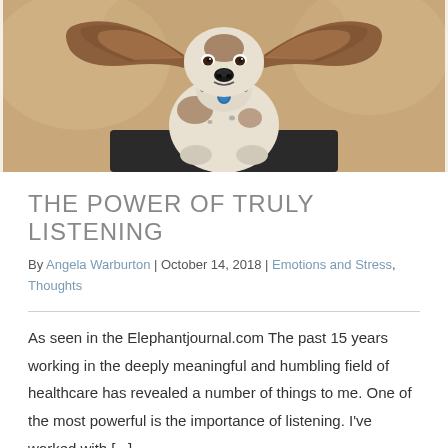[Figure (photo): A Basset Hound or mixed breed dog sitting on a dark platform with ears raised/spread out wide, looking directly at camera. The background is a warm tan/beige bokeh. The dog has a blue tag on its collar. The photo is cropped showing the dog from mid-body up.]
THE POWER OF TRULY LISTENING
By Angela Warburton | October 14, 2018 | Emotions and Stress, Thoughts
As seen in the Elephantjournal.com The past 15 years working in the deeply meaningful and humbling field of healthcare has revealed a number of things to me. One of the most powerful is the importance of listening. I've worked with [...]